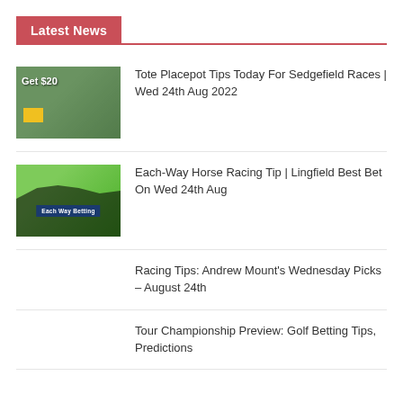Latest News
Tote Placepot Tips Today For Sedgefield Races | Wed 24th Aug 2022
Each-Way Horse Racing Tip | Lingfield Best Bet On Wed 24th Aug
Racing Tips: Andrew Mount's Wednesday Picks – August 24th
Tour Championship Preview: Golf Betting Tips, Predictions